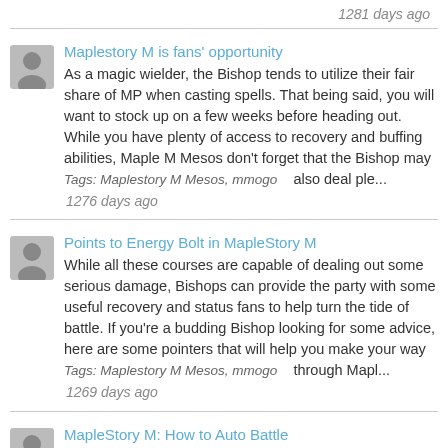1281 days ago
Maplestory M is fans' opportunity
As a magic wielder, the Bishop tends to utilize their fair share of MP when casting spells. That being said, you will want to stock up on a few weeks before heading out. While you have plenty of access to recovery and buffing abilities, Maple M Mesos don't forget that the Bishop may also deal ple...
Tags: Maplestory M Mesos, mmogo
1276 days ago
Points to Energy Bolt in MapleStory M
While all these courses are capable of dealing out some serious damage, Bishops can provide the party with some useful recovery and status fans to help turn the tide of battle. If you're a budding Bishop looking for some advice, here are some pointers that will help you make your way through Mapl...
Tags: Maplestory M Mesos, mmogo
1269 days ago
MapleStory M: How to Auto Battle
Some might say that spamming one maplestory skill daily